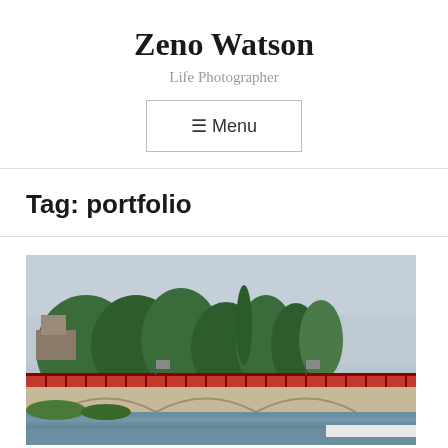Zeno Watson
Life Photographer
☰ Menu
Tag: portfolio
[Figure (photo): Photograph of a river bridge with red metal railing structure on top of stone arches, framed by green trees and an overcast sky]